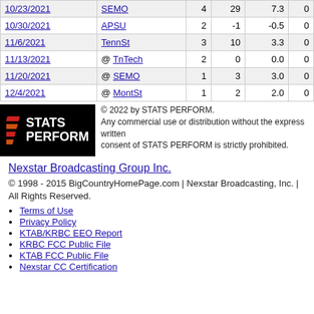| Date | Opponent |  |  |  |  |
| --- | --- | --- | --- | --- | --- |
| 10/23/2021 | SEMO | 4 | 29 | 7.3 | 0 |
| 10/30/2021 | APSU | 2 | -1 | -0.5 | 0 |
| 11/6/2021 | TennSt | 3 | 10 | 3.3 | 0 |
| 11/13/2021 | @ TnTech | 2 | 0 | 0.0 | 0 |
| 11/20/2021 | @ SEMO | 1 | 3 | 3.0 | 0 |
| 12/4/2021 | @ MontSt | 1 | 2 | 2.0 | 0 |
[Figure (logo): STATS PERFORM logo on black background with colored slash marks]
© 2022 by STATS PERFORM. Any commercial use or distribution without the express written consent of STATS PERFORM is strictly prohibited.
Nexstar Broadcasting Group Inc.
© 1998 - 2015 BigCountryHomePage.com | Nexstar Broadcasting, Inc. | All Rights Reserved.
Terms of Use
Privacy Policy
KTAB/KRBC EEO Report
KRBC FCC Public File
KTAB FCC Public File
Nexstar CC Certification